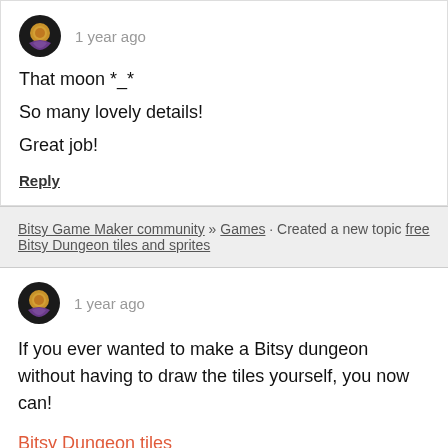[Figure (illustration): User avatar - circular image with golden and purple tones]
1 year ago
That moon *_*

So many lovely details!

Great job!
Reply
Bitsy Game Maker community » Games · Created a new topic free Bitsy Dungeon tiles and sprites
[Figure (illustration): User avatar - circular image with golden and purple tones]
1 year ago
If you ever wanted to make a Bitsy dungeon without having to draw the tiles yourself, you now can!
Bitsy Dungeon tiles
These tiles, sprites and items are freely available to use as